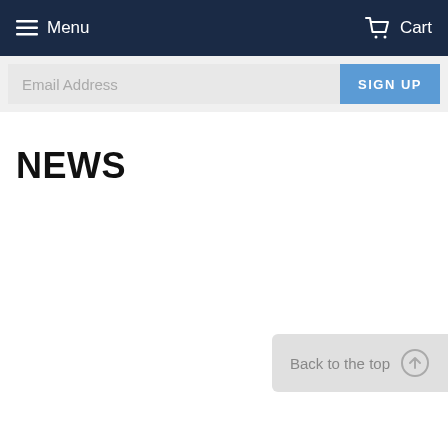Menu  Cart
Email Address  SIGN UP
NEWS
Back to the top